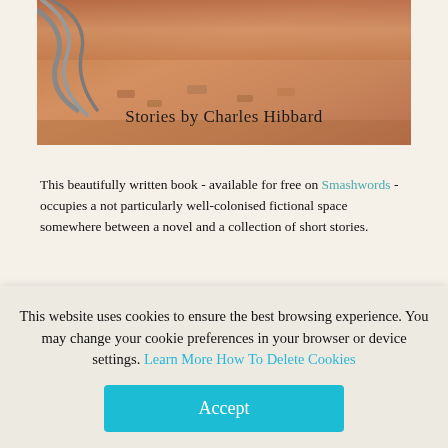[Figure (photo): Book cover image showing a sandy/desert background with rope or cable elements, text reads 'Stories by Charles Hibbard']
This beautifully written book - available for free on Smashwords - occupies a not particularly well-colonised fictional space somewhere between a novel and a collection of short stories.
It's like a novel in the sense that it depicts various episodes in the life of one character, Ruth, who was born - I am guessing - at some point in the
This website uses cookies to ensure the best browsing experience. You may change your cookie preferences in your browser or device settings. Learn More How To Delete Cookies